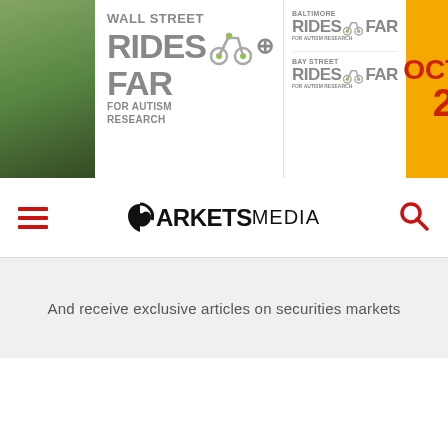[Figure (illustration): Banner advertisement for 'Wall Street Rides FAR for Autism Research', 'Baltimore Rides FAR', and 'Bay Street Rides FAR' cycling charity events, with a yellow strip showing 'Octo' and '2' (partial date text). Includes bicycle icons and a green photo strip on the left.]
[Figure (logo): Markets Media logo: circular M mark followed by bold MARKETS and lighter MEDIA text]
And receive exclusive articles on securities markets